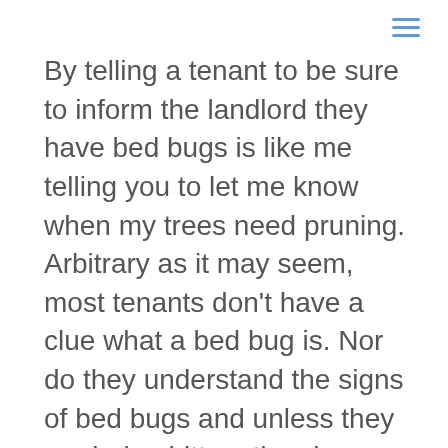By telling a tenant to be sure to inform the landlord they have bed bugs is like me telling you to let me know when my trees need pruning. Arbitrary as it may seem, most tenants don't have a clue what a bed bug is. Nor do they understand the signs of bed bugs and unless they are being bitten, they have no clue that they may even have them. I've seen a lot of sheets that are given to tenants that provide six or seven paragraphs explaining bed bugs. No pictures – no policies, etc. Yet, they are expected to know.